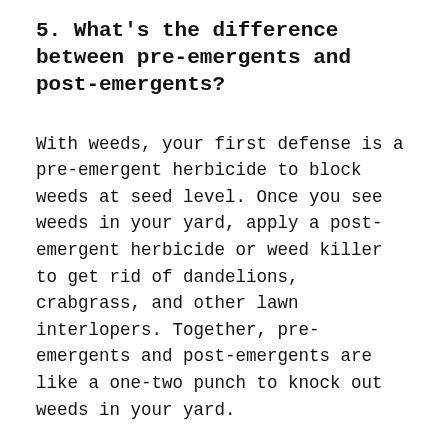5. What's the difference between pre-emergents and post-emergents?
With weeds, your first defense is a pre-emergent herbicide to block weeds at seed level. Once you see weeds in your yard, apply a post-emergent herbicide or weed killer to get rid of dandelions, crabgrass, and other lawn interlopers. Together, pre-emergents and post-emergents are like a one-two punch to knock out weeds in your yard.
When to Call a Lawn Care Pro
Still worried about choosing the right pre-emergent herbicide for your yard? Don't have the time to spread your own herbicides? LawnStarter pros are